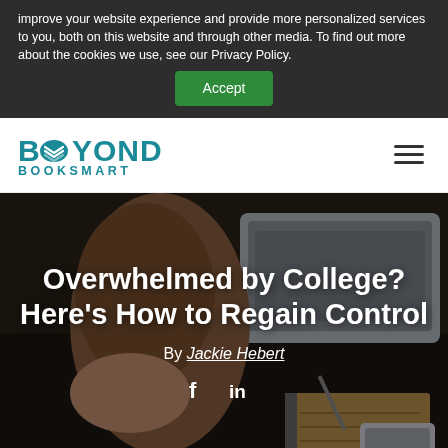improve your website experience and provide more personalized services to you, both on this website and through other media. To find out more about the cookies we use, see our Privacy Policy.
Accept
[Figure (logo): Beyond Booksmart logo with teal stacked book/chevron icon]
Overwhelmed by College? Here's How to Regain Control
By Jackie Hebert
[Figure (infographic): Social share icons: Facebook (f) and LinkedIn (in)]